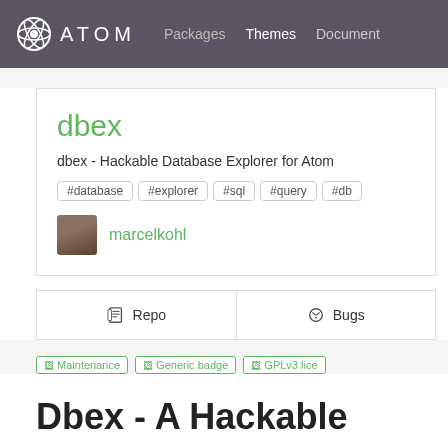ATOM  Packages  Themes  Document
dbex
dbex - Hackable Database Explorer for Atom
#database  #explorer  #sql  #query  #db
marcelkohl
Repo   Bugs
[Figure (other): Three badge images: Maintenance, Generic badge, GPLv3 license]
Dbex - A Hackable